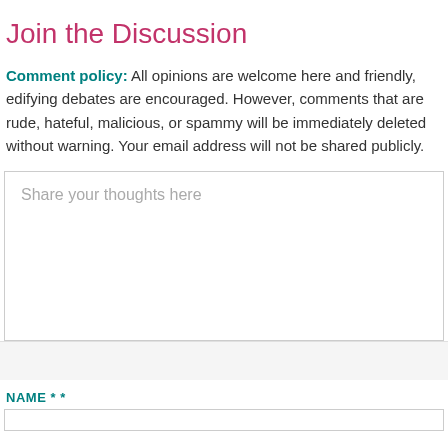Join the Discussion
Comment policy: All opinions are welcome here and friendly, edifying debates are encouraged. However, comments that are rude, hateful, malicious, or spammy will be immediately deleted without warning. Your email address will not be shared publicly.
Share your thoughts here
NAME * *